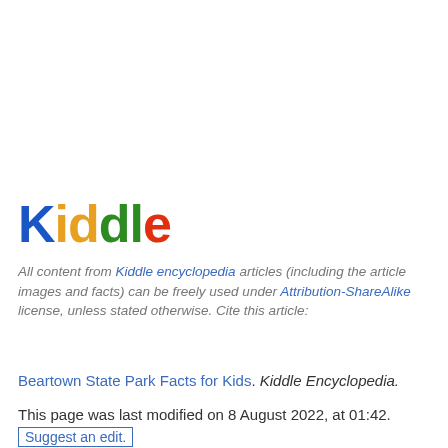[Figure (logo): Kiddle logo with colorful letters: K in blue, i in orange, d in orange, d in green, l in green, e in red]
All content from Kiddle encyclopedia articles (including the article images and facts) can be freely used under Attribution-ShareAlike license, unless stated otherwise. Cite this article:
Beartown State Park Facts for Kids. Kiddle Encyclopedia.
This page was last modified on 8 August 2022, at 01:42.
Suggest an edit.